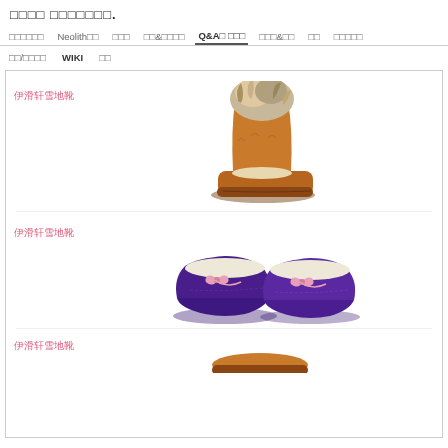□□□□ □□□□□□□.
□□□□□□  Neolith□□  □□□  □□&□□□□  Q&A□ □□□  □□□&□□  □□  □□□□□
□□/□□□□  WIKI  □□
[Figure (photo): Snow boot with fluffy fur trim in brown/tan suede with natural fur decoration on top]
伊滑轩雪地靴
[Figure (photo): Purple suede moccasin-style flat shoes with cream fur interior lining and pink bow tie detail]
伊滑轩雪地靴
伊滑轩雪地靴